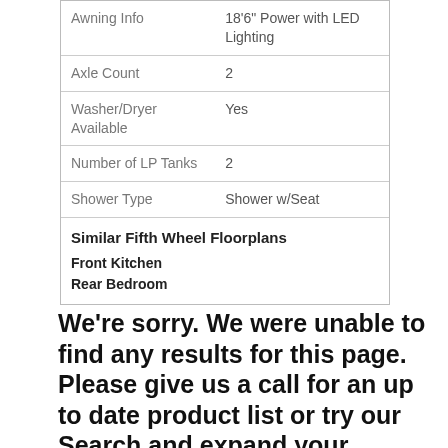|  |  |
| --- | --- |
| Awning Info | 18'6" Power with LED Lighting |
| Axle Count | 2 |
| Washer/Dryer Available | Yes |
| Number of LP Tanks | 2 |
| Shower Type | Shower w/Seat |
Similar Fifth Wheel Floorplans
Front Kitchen
Rear Bedroom
We're sorry. We were unable to find any results for this page. Please give us a call for an up to date product list or try our Search and expand your criteria.